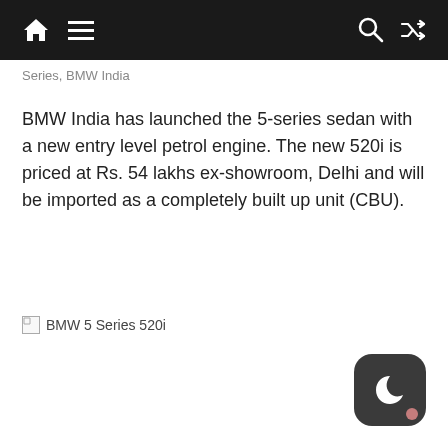Navigation bar with home, menu, search, and shuffle icons
Series, BMW India
BMW India has launched the 5-series sedan with a new entry level petrol engine. The new 520i is priced at Rs. 54 lakhs ex-showroom, Delhi and will be imported as a completely built up unit (CBU).
[Figure (photo): Broken image placeholder labeled BMW 5 Series 520i]